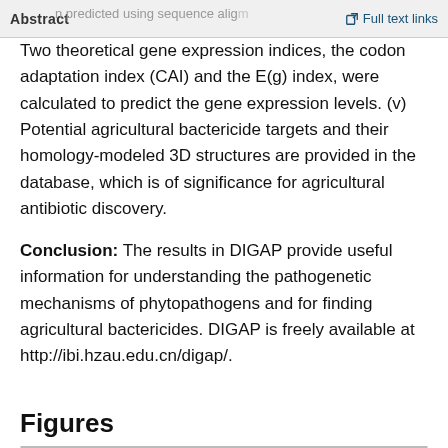Abstract | Full text links
Two theoretical gene expression indices, the codon adaptation index (CAI) and the E(g) index, were calculated to predict the gene expression levels. (v) Potential agricultural bactericide targets and their homology-modeled 3D structures are provided in the database, which is of significance for agricultural antibiotic discovery.
Conclusion: The results in DIGAP provide useful information for understanding the pathogenetic mechanisms of phytopathogens and for finding agricultural bactericides. DIGAP is freely available at http://ibi.hzau.edu.cn/digap/.
Figures
[Figure (flowchart): A flowchart diagram shown partially at the bottom of the page, with green and red boxes and diamond shapes connected by arrows.]